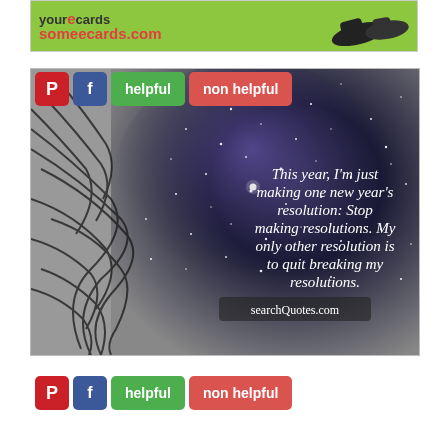[Figure (screenshot): someecards.com green ad banner with logo and shoe graphic]
[Figure (photo): Quote image: woman with flowing hair against starry/galaxy sky background. White text reads: 'This year, I'm just making one new year's resolution: Stop making resolutions. My only other resolution is to quit breaking my resolutions.' — searchQuotes.com]
helpful | non helpful (button bar top)
helpful | non helpful (button bar bottom)